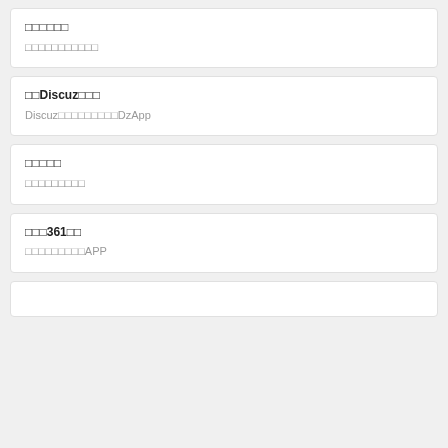□□□□□□
□□□□□□□□□□□
□□Discuz□□□
Discuz□□□□□□□□□DzApp
□□□□□
□□□□□□□□□
□□□361□□
□□□□□□□□□APP